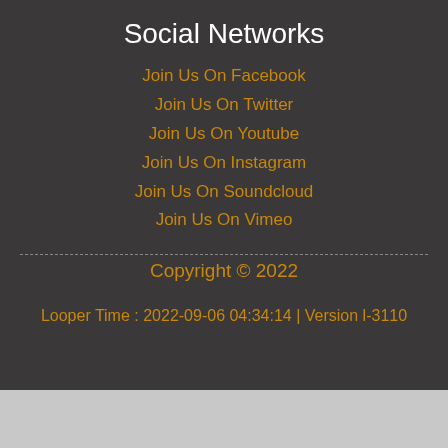Social Networks
Join Us On Facebook
Join Us On Twitter
Join Us On Youtube
Join Us On Instagram
Join Us On Soundcloud
Join Us On Vimeo
Copyright © 2022
Looper Time : 2022-09-06 04:34:14 | Version l-3110